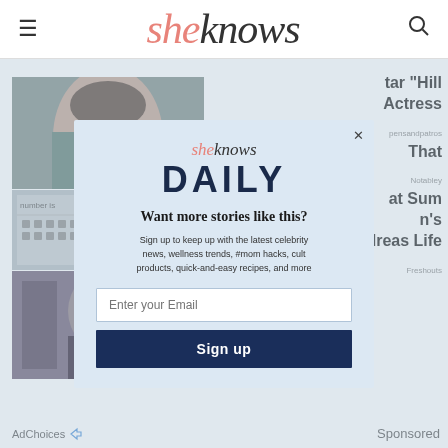sheknows
[Figure (screenshot): Website screenshot of SheKnows with a newsletter signup modal overlay. Modal shows SheKnows logo, DAILY heading, 'Want more stories like this?' headline, email signup form and Sign up button. Background shows partial article images and text snippets.]
AdChoices
Sponsored